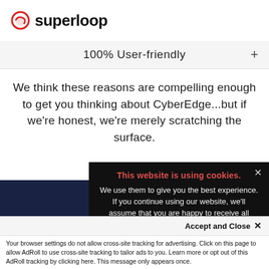superloop
100% User-friendly
We think these reasons are compelling enough to get you thinking about CyberEdge...but if we're honest, we're merely scratching the surface.
[Figure (screenshot): Cookie consent modal popup on dark background reading: 'This website is using cookies. We use them to give you the best experience. If you continue using our website, we'll assume that you are happy to receive all cookies on this website.' with an X close button.]
[Figure (photo): Partial view of a white robot or device against a dark navy background.]
Accept and Close ✕
Your browser settings do not allow cross-site tracking for advertising. Click on this page to allow AdRoll to use cross-site tracking to tailor ads to you. Learn more or opt out of this AdRoll tracking by clicking here. This message only appears once.